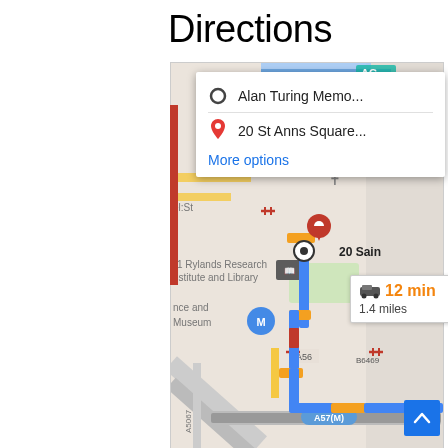Directions
[Figure (map): Google Maps screenshot showing directions from Alan Turing Memorial to 20 St Anns Square, Manchester. Route shown in blue with orange highlights, 12 min driving, 1.4 miles. Landmarks include John Rylands Research Institute and Library, Museum, road labels A56, A57(M), A5067, B6469.]
[Figure (screenshot): Direction popup overlay showing: origin 'Alan Turing Memo...' with circle icon, destination '20 St Anns Square...' with red pin icon, and 'More options' link in blue.]
[Figure (infographic): Travel info box showing car icon, '12 min' in orange, '1.4 miles' below.]